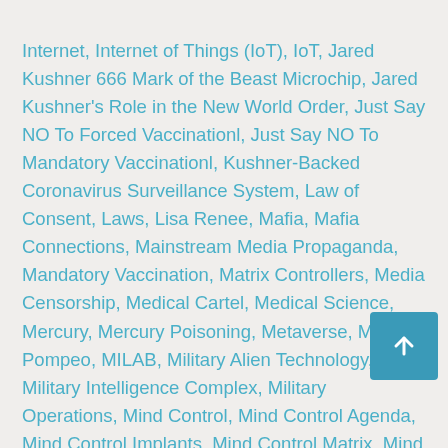Internet, Internet of Things (IoT), IoT, Jared Kushner 666 Mark of the Beast Microchip, Jared Kushner's Role in the New World Order, Just Say NO To Forced Vaccinationl, Just Say NO To Mandatory Vaccinationl, Kushner-Backed Coronavirus Surveillance System, Law of Consent, Laws, Lisa Renee, Mafia, Mafia Connections, Mainstream Media Propaganda, Mandatory Vaccination, Matrix Controllers, Media Censorship, Medical Cartel, Medical Science, Mercury, Mercury Poisoning, Metaverse, Mike Pompeo, MILAB, Military Alien Technology, Military Intelligence Complex, Military Operations, Mind Control, Mind Control Agenda, Mind Control Implants, Mind Control Matrix, Mind Control Program, Mind Control Programmers, Mind Control Programming, Mind Control Programs, Mind Control Psyops, Mind Control Software, Mind Control Technology, Mind Control Weaponry, Mind-Con Robots, MK-Ultra, Morgellons, Morgellons Disease, Mur NAA, NAA (Negative Alien Agenda}, NAA Slavery Programs, Nano Technology, Nano-Bots, Nano-Chips, Nano-Encoded Holograms, Nano-Particles, Nanobots, Nanoparticles